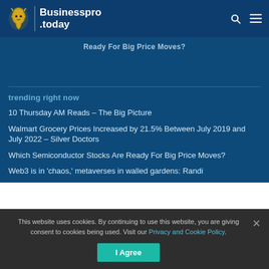Businesspro.today
Ready For Big Price Moves?
trending right now
10 Thursday AM Reads – The Big Picture
Walmart Grocery Prices Increased by 21.5% Between July 2019 and July 2022 – Silver Doctors
Which Semiconductor Stocks Are Ready For Big Price Moves?
Web3 is in 'chaos,' metaverses in walled gardens: Randi
This website uses cookies. By continuing to use this website, you are giving consent to cookies being used. Visit our Privacy and Cookie Policy.